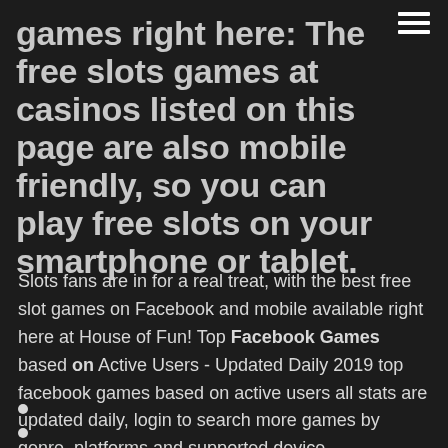games right here: The free slots games at casinos listed on this page are also mobile friendly, so you can play free slots on your smartphone or tablet.
Slots fans are in for a real treat, with the best free slot games on Facebook and mobile available right here at House of Fun! Top Facebook Games based on Active Users - Updated Daily 2019 top facebook games based on active users all stats are updated daily, login to search more games by genre, platforms and supported device